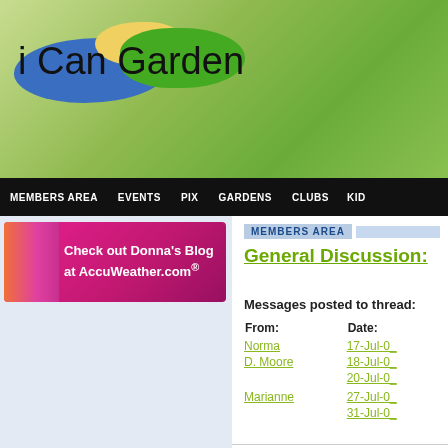[Figure (logo): i Can Garden logo with blue, yellow, and green blob shapes behind stylized handwritten text]
MEMBERS AREA | EVENTS | PIX | GARDENS | CLUBS | KID
[Figure (illustration): Check out Donna's Blog at AccuWeather.com® advertisement banner with pink/magenta background and flowers]
MEMBERS AREA
General Discussion:
Messages posted to thread:
| From: | Date: |
| --- | --- |
| Norma | 17-Jul-0_ |
| D. Moore | 18-Jul-0_ |
|  | 20-Jul-0_ |
| Marianne | 27-Jul-0_ |
|  | 31-Jul-0_ |